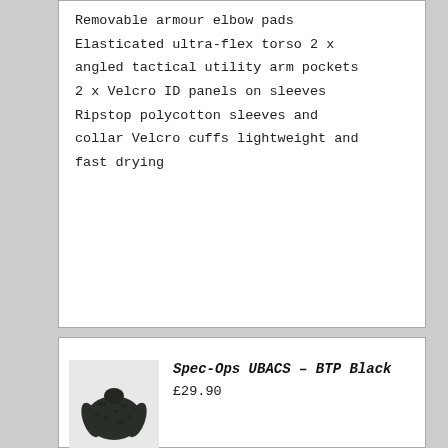Removable armour elbow pads Elasticated ultra-flex torso 2 x angled tactical utility arm pockets 2 x Velcro ID panels on sleeves Ripstop polycotton sleeves and collar Velcro cuffs lightweight and fast drying
[Figure (photo): Photo of a military-style jacket in BTP Black (dark camouflage) pattern, shown as a product image]
Spec-Ops UBACS – BTP Black
£29.90
Removable armour elbow pads